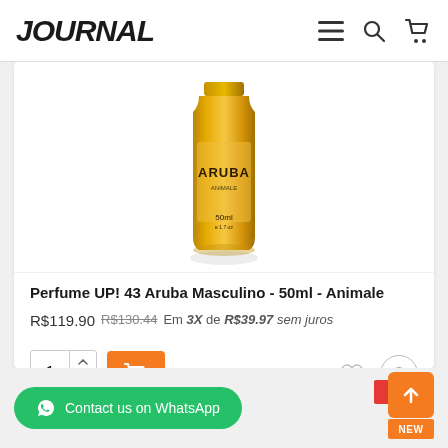JOURNAL
[Figure (photo): Gold cylindrical perfume bottle labeled ARUBA by Animale, 50ml]
Perfume UP! 43 Aruba Masculino - 50ml - Animale
R$119.90 R$130.44 Em 3X de R$39.97 sem juros
1 [Add to cart button] [Heart icon] [Compare icon]
Contact us on WhatsApp